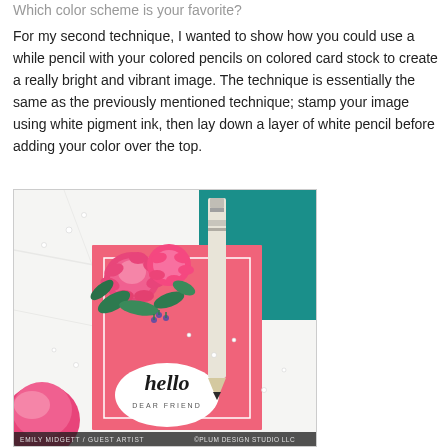Which color scheme is your favorite?
For my second technique, I wanted to show how you could use a while pencil with your colored pencils on colored card stock to create a really bright and vibrant image. The technique is essentially the same as the previously mentioned technique; stamp your image using white pigment ink, then lay down a layer of white pencil before adding your color over the top.
[Figure (photo): A craft card with pink floral design (chrysanthemums with green leaves) on a coral/pink background with a white 'hello dear friend' oval label, displayed alongside a white pencil and teal card stock on a white marble surface with small pearls/beads. Photo credit: Emily Midgett / Guest Artist, Plum Design Studio LLC.]